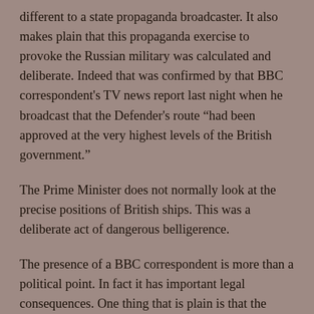different to a state propaganda broadcaster. It also makes plain that this propaganda exercise to provoke the Russian military was calculated and deliberate. Indeed that was confirmed by that BBC correspondent's TV news report last night when he broadcast that the Defender's route "had been approved at the very highest levels of the British government."
The Prime Minister does not normally look at the precise positions of British ships. This was a deliberate act of dangerous belligerence.
The presence of a BBC correspondent is more than a political point. In fact it has important legal consequences. One thing that is plain is that the Defender cannot possible claim it was engaged in "innocent passage" through territorial waters,